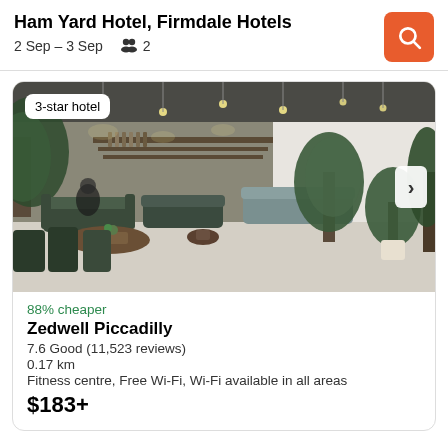Ham Yard Hotel, Firmdale Hotels
2 Sep – 3 Sep  👥 2
[Figure (screenshot): Hotel interior lobby/lounge photo with plants, green sofas, hanging lights, and wooden tables]
3-star hotel
88% cheaper
Zedwell Piccadilly
7.6 Good (11,523 reviews)
0.17 km
Fitness centre, Free Wi-Fi, Wi-Fi available in all areas
$183+